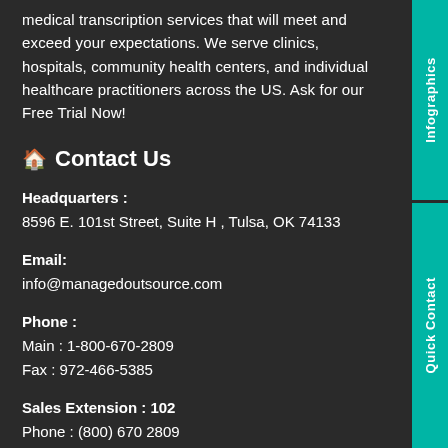medical transcription services that will meet and exceed your expectations. We serve clinics, hospitals, community health centers, and individual healthcare practitioners across the US. Ask for our Free Trial Now!
🏠 Contact Us
Headquarters:
8596 E. 101st Street, Suite H , Tulsa, OK 74133
Email:
info@managedoutsource.com
Phone :
Main : 1-800-670-2809
Fax : 972-466-5385
Sales Extension : 102
Phone : (800) 670 2809
Email : sales@managedoutsource.com
Support Extension : 100
Phone : (800) 670 2809
Email : support@managedoutsource.com